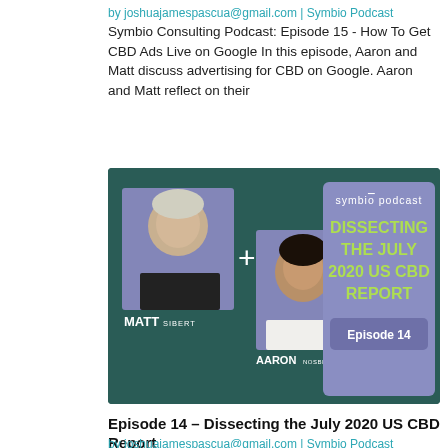by joshuajamespascua@gmail.com | Symbio Podcast
Symbio Consulting Podcast: Episode 15 - How To Get CBD Ads Live on Google In this episode, Aaron and Matt discuss advertising for CBD on Google. Aaron and Matt reflect on their
[Figure (photo): Symbio Podcast promotional image for Episode 14: Dissecting the July 2020 US CBD Report. Features photos of Matt Sibert and Aaron Nosbisch on a dark teal background with purple box showing episode title text.]
Episode 14 – Dissecting the July 2020 US CBD Report
by joshuajamespascua@gmail.com | Symbio Podcast
Symbio Consulting Podcast: Episode 14 - Dissecting the July 2020 US CBD Report In this episode, Aaron and Matt discuss the July 2020 US CBD Report and